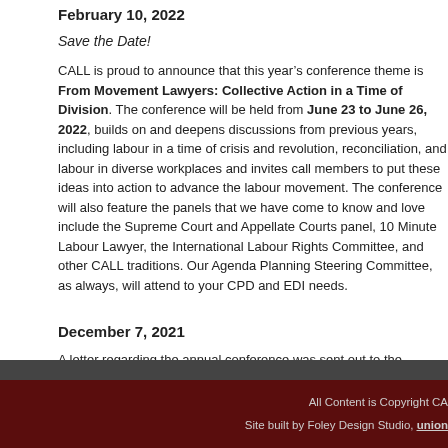February 10, 2022
Save the Date!
CALL is proud to announce that this year's conference theme is From Movement Lawyers: Collective Action in a Time of Division. The conference will be held from June 23 to June 26, 2022, builds on and deepens discussions from previous years, including labour in a time of crisis and revolution, reconciliation, and labour in diverse workplaces and invites call members to put these ideas into action to advance the labour movement. The conference will also feature the panels that we have come to know and love include the Supreme Court and Appellate Courts panel, 10 Minute Labour Lawyer, the International Labour Rights Committee, and other CALL traditions. Our Agenda Planning Steering Committee, as always, will attend to your CPD and EDI needs.
December 7, 2021
A letter regarding the annual conference was sent out to the members in December 2021.  Click here to view this letter.
All Content is Copyright CA
Site built by Foley Design Studio, union